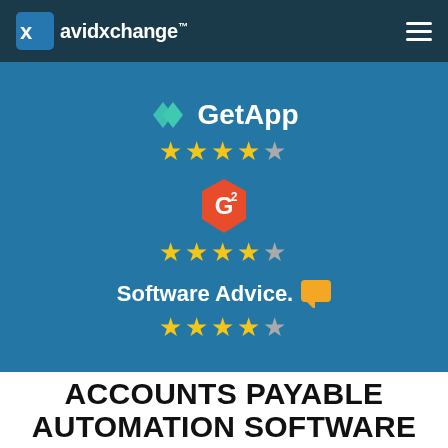avidxchange™
[Figure (logo): GetApp logo with teal double-arrow icon and white text 'GetApp' on blue background, followed by 4.5 gold star rating]
[Figure (logo): G2 badge (orange shield with G2 text) on blue background, followed by 4.5 gold star rating]
[Figure (logo): Software Advice logo with orange chat bubble icon on blue background, followed by 4 gold star and 1 gray star rating]
ACCOUNTS PAYABLE AUTOMATION SOFTWARE